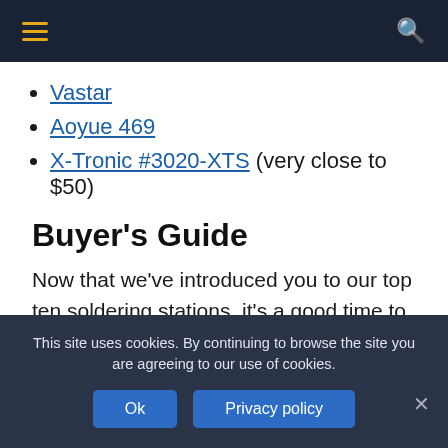Navigation bar with hamburger menu and search icon
Vastar
Aoyue 469
X-Tronic #3020-XTS (very close to $50)
Buyer's Guide
Now that we've introduced you to our top ten soldering stations, it's a good time to explore what to look for in a kit. In the section below, you'll find out what to consider when purchasing a soldering
This site uses cookies. By continuing to browse the site you are agreeing to our use of cookies.